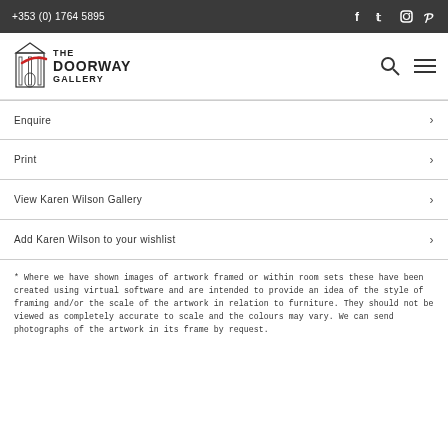+353 (0) 1764 5895
[Figure (logo): The Doorway Gallery logo with building illustration and text]
Enquire
Print
View Karen Wilson Gallery
Add Karen Wilson to your wishlist
* Where we have shown images of artwork framed or within room sets these have been created using virtual software and are intended to provide an idea of the style of framing and/or the scale of the artwork in relation to furniture. They should not be viewed as completely accurate to scale and the colours may vary. We can send photographs of the artwork in its frame by request.